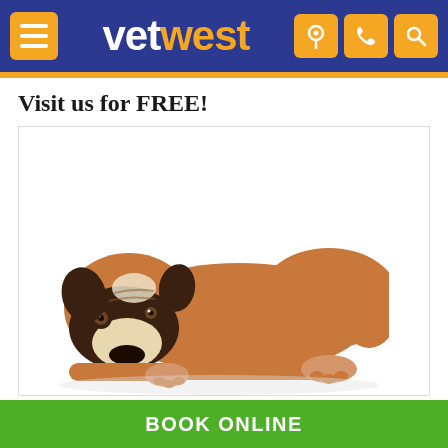vetwest
Visit us for FREE!
[Figure (photo): A sad-looking brown and white Boxer dog lying flat on the ground with its chin resting on the floor, looking up at the camera against a white background.]
BOOK ONLINE